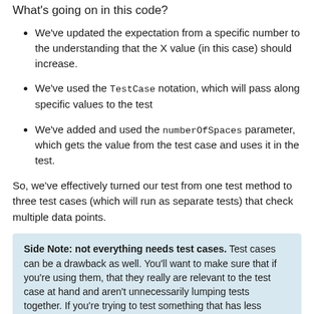What's going on in this code?
We've updated the expectation from a specific number to the understanding that the X value (in this case) should increase.
We've used the TestCase notation, which will pass along specific values to the test
We've added and used the numberOfSpaces parameter, which gets the value from the test case and uses it in the test.
So, we've effectively turned our test from one test method to three test cases (which will run as separate tests) that check multiple data points.
Side Note: not everything needs test cases. Test cases can be a drawback as well. You'll want to make sure that if you're using them, that they really are relevant to the test case at hand and aren't unnecessarily lumping tests together. If you're trying to test something that has less explicit examples, you might be best off looking at property-based testing.